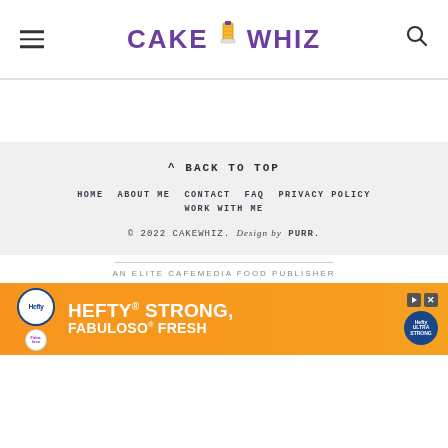CAKE WHIZ
^ BACK TO TOP
HOME   ABOUT ME   CONTACT   FAQ   PRIVACY POLICY   WORK WITH ME
© 2022 CAKEWHIZ. Design by PURR.
AN ELITE CAFEMEDIA FOOD PUBLISHER
[Figure (screenshot): Hefty advertisement banner: orange background with Hefty and Fabuloso logos, text reads HEFTY STRONG, FABULOSO FRESH]